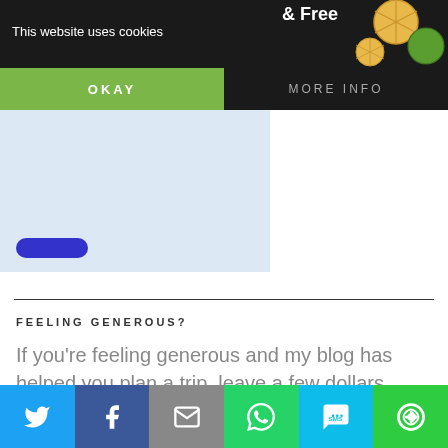This website uses cookies
OKAY
MORE INFO
[Figure (screenshot): Website cookie consent banner with okay and more info buttons over a dark background with fruit illustration]
[Figure (screenshot): Light blue banner area with a dark blue rounded button]
FEELING GENEROUS?
If you’re feeling generous and my blog has helped you plan a trip, leave a few dollars below to say thanks! 🙂
[Figure (infographic): Social sharing bar with Twitter, Facebook, Email, WhatsApp, SMS, and More buttons]